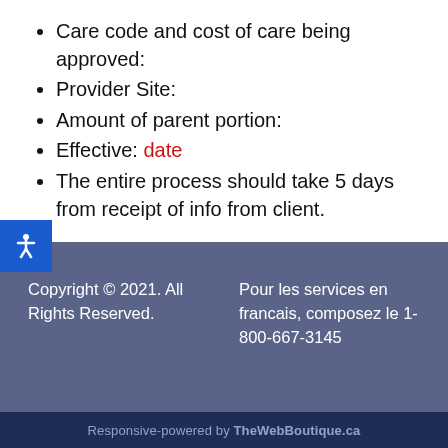Care code and cost of care being approved:
Provider Site:
Amount of parent portion:
Effective: date
The entire process should take 5 days from receipt of info from client.
Copyright © 2021. All Rights Reserved.
Pour les services en francais, composez le 1-800-667-3145
Responsive-powered by TheWebBoutique.ca